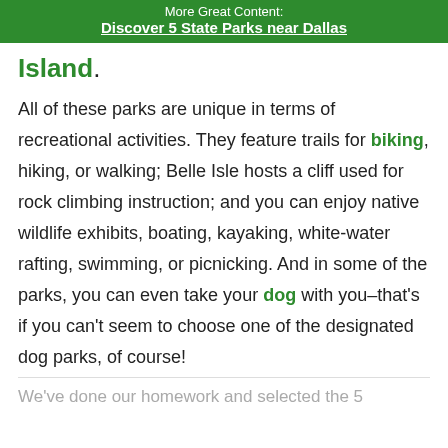More Great Content:
Discover 5 State Parks near Dallas
Island.
All of these parks are unique in terms of recreational activities. They feature trails for biking, hiking, or walking; Belle Isle hosts a cliff used for rock climbing instruction; and you can enjoy native wildlife exhibits, boating, kayaking, white-water rafting, swimming, or picnicking. And in some of the parks, you can even take your dog with you–that's if you can't seem to choose one of the designated dog parks, of course!
We've done our homework and selected the 5